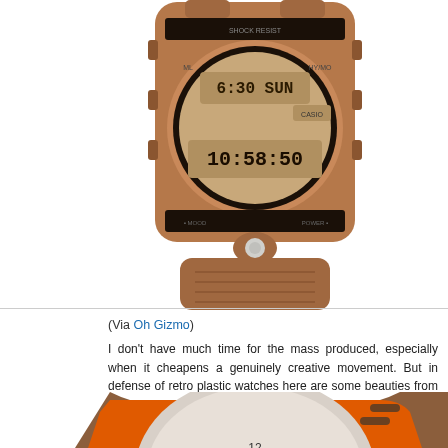[Figure (photo): Casio G-Shock retro copper/bronze colored digital watch with LCD display showing 6:30 SUN and 10:58:50, with a large round bezel and textured strap]
(Via Oh Gizmo)
I don't have much time for the mass produced, especially when it cheapens a genuinely creative movement. But in defense of retro plastic watches here are some beauties from the archives of Watchismo.com.
[Figure (photo): Brown leather strap round analog watch with orange interior lining, showing top portion with 11 and 12 on the dial]